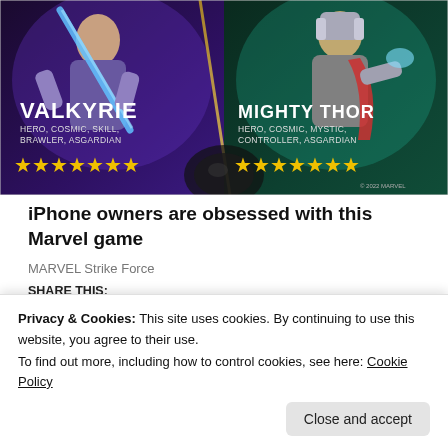[Figure (illustration): Marvel Strike Force game promotional image showing Valkyrie and Mighty Thor characters side by side with star ratings. Valkyrie (left): HERO, COSMIC, SKILL, BRAWLER, ASGARDIAN with 7 yellow stars. Mighty Thor (right): HERO, COSMIC, MYSTIC, CONTROLLER, ASGARDIAN with 7 yellow stars.]
iPhone owners are obsessed with this Marvel game
MARVEL Strike Force
SHARE THIS:
Privacy & Cookies: This site uses cookies. By continuing to use this website, you agree to their use.
To find out more, including how to control cookies, see here: Cookie Policy
Close and accept